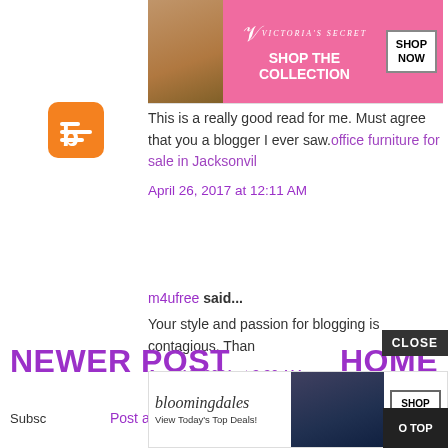[Figure (screenshot): Victoria's Secret advertisement banner with model, VS logo, 'SHOP THE COLLECTION' text, and 'SHOP NOW' button]
[Figure (logo): Blogger orange B logo icon]
This is a really good read for me. Must agree that you a blogger I ever saw.office furniture for sale in Jacksonvil
April 26, 2017 at 12:11 AM
m4ufree said...
Your style and passion for blogging is contagious. Than
June 10, 2021 at 3:30 AM
Post a Comment
NEWER POST
HOME
CLOSE
[Figure (screenshot): Bloomingdale's advertisement with model in hat, 'View Today's Top Deals!' text, and 'SHOP NOW >' button]
Subsc
O TOP